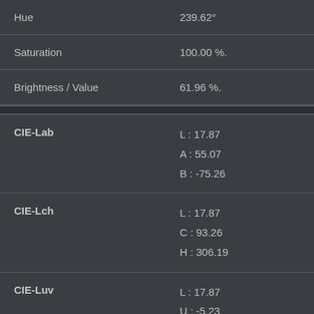| Property | Value |
| --- | --- |
| Hue | 239.62° |
| Saturation | 100.00 %. |
| Brightness / Value | 61.96 %. |
| CIE-Lab | L : 17.87
A : 55.07
B : -75.26 |
| CIE-Lch | L : 17.87
C : 93.26
H : 306.19 |
| CIE-Luv | L : 17.87
U : -5.23
V : -71.9 |
| Hunter-Lab | L : 15.78
A : 42.31 |